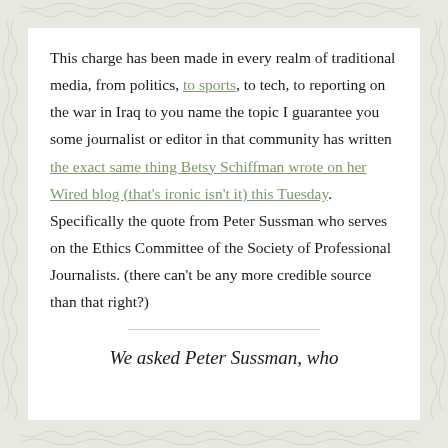This charge has been made in every realm of traditional media, from politics, to sports, to tech, to reporting on the war in Iraq to you name the topic I guarantee you some journalist or editor in that community has written the exact same thing Betsy Schiffman wrote on her Wired blog (that's ironic isn't it) this Tuesday. Specifically the quote from Peter Sussman who serves on the Ethics Committee of the Society of Professional Journalists. (there can't be any more credible source than that right?)
We asked Peter Sussman, who